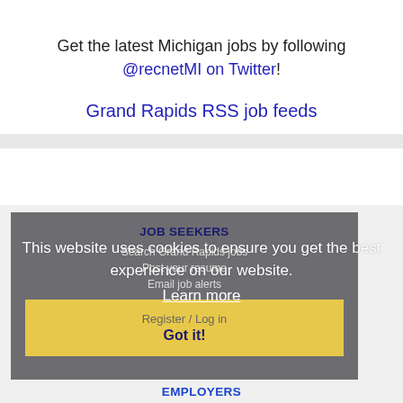Get the latest Michigan jobs by following @recnetMI on Twitter!
Grand Rapids RSS job feeds
JOB SEEKERS
Search Grand Rapids jobs
Post your resume
Email job alerts
Register / Log in
This website uses cookies to ensure you get the best experience on our website. Learn more Got it!
EMPLOYERS